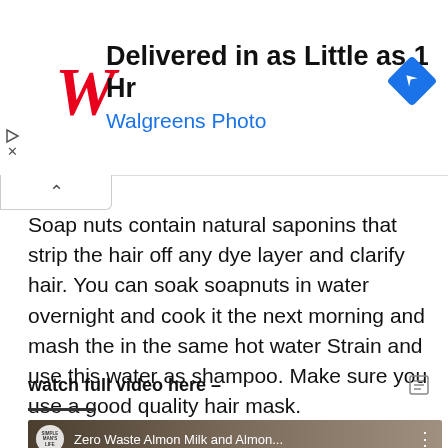[Figure (screenshot): Walgreens Photo advertisement banner with logo, headline 'Delivered in as Little as 1 Hr', subtext 'Walgreens Photo', and a blue diamond map/navigation icon on the right.]
Soap nuts contain natural saponins that strip the hair off any dye layer and clarify hair. You can soak soapnuts in water overnight and cook it the next morning and mash the in the same hot water Strain and use this water as shampoo. Make sure you use a good quality hair mask.
watch full video here –
[Figure (screenshot): YouTube video thumbnail showing 'Zero Waste Almon Milk and Almon...' from Simple Mans Life channel with a brownish background.]